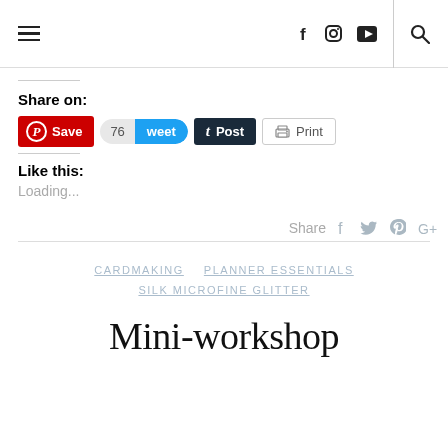Navigation header with hamburger menu, social icons (Facebook, Instagram, YouTube), divider, and search icon
Share on:
[Figure (screenshot): Social sharing buttons: Pinterest Save, Tweet (76), Tumblr Post, Print]
Like this:
Loading...
Share
CARDMAKING   PLANNER ESSENTIALS
SILK MICROFINE GLITTER
Mini-workshop